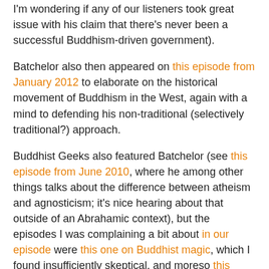I'm wondering if any of our listeners took great issue with his claim that there's never been a successful Buddhism-driven government).
Batchelor also then appeared on this episode from January 2012 to elaborate on the historical movement of Buddhism in the West, again with a mind to defending his non-traditional (selectively traditional?) approach.
Buddhist Geeks also featured Batchelor (see this episode from June 2010, where he among other things talks about the difference between atheism and agnosticism; it's nice hearing about that outside of an Abrahamic context), but the episodes I was complaining a bit about in our episode were this one on Buddhist magic, which I found insufficiently skeptical, and moreso this interview with Charles Tart where Tart defends the paranormal as backed by evidence which no unbiased person could deny. For the sake of completeness, here's another